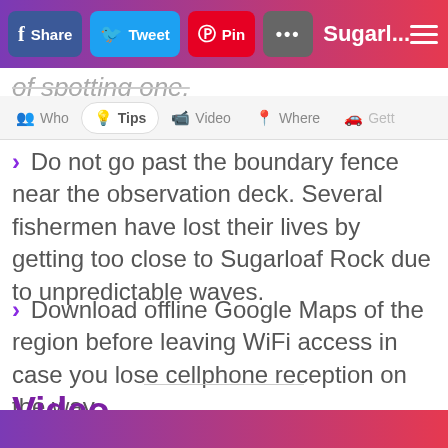Share | Tweet | Pin | ... | Sugarl...
of spotting one.
Do not go past the boundary fence near the observation deck. Several fishermen have lost their lives by getting too close to Sugarloaf Rock due to unpredictable waves.
Download offline Google Maps of the region before leaving WiFi access in case you lose cellphone reception on the way.
Video